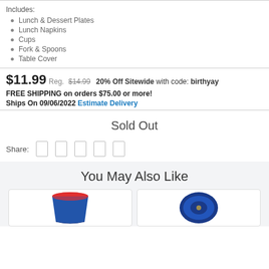Includes:
Lunch & Dessert Plates
Lunch Napkins
Cups
Fork & Spoons
Table Cover
$11.99  Reg. $14.99  20% Off Sitewide with code: birthyay
FREE SHIPPING on orders $75.00 or more!
Ships On 09/06/2022  Estimate Delivery
Sold Out
Share:
You May Also Like
[Figure (photo): Red and blue party cup thumbnail]
[Figure (photo): Blue nautical party plate thumbnail]